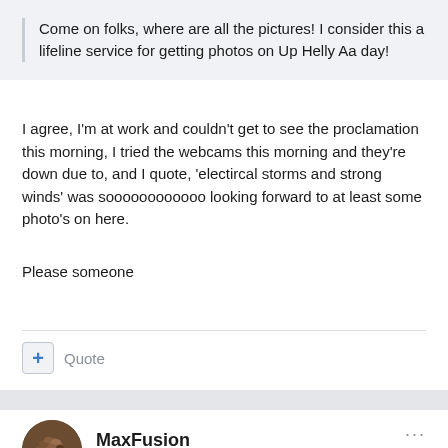Come on folks, where are all the pictures! I consider this a lifeline service for getting photos on Up Helly Aa day!
I agree, I'm at work and couldn't get to see the proclamation this morning, I tried the webcams this morning and they're down due to, and I quote, 'electircal storms and strong winds' was soooooooooooo looking forward to at least some photo's on here.
Please someone
+ Quote
MaxFusion
Posted January 27, 2009